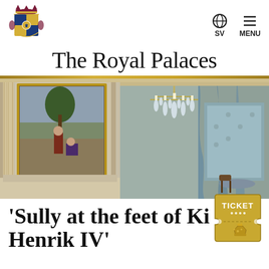The Royal Palaces — SV | MENU
The Royal Palaces
[Figure (photo): Interior of a royal palace room with ornate gold-framed painting of Sully at the feet of King Henrik IV, crystal chandelier, blue silk curtains and alcove, decorative wall panels]
'Sully at the feet of King Henrik IV'